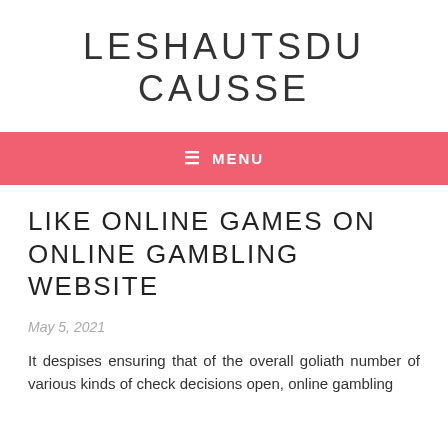LESHAUTSDU CAUSSE
≡ MENU
LIKE ONLINE GAMES ON ONLINE GAMBLING WEBSITE
May 5, 2021
It despises ensuring that of the overall goliath number of various kinds of check decisions open, online gambling